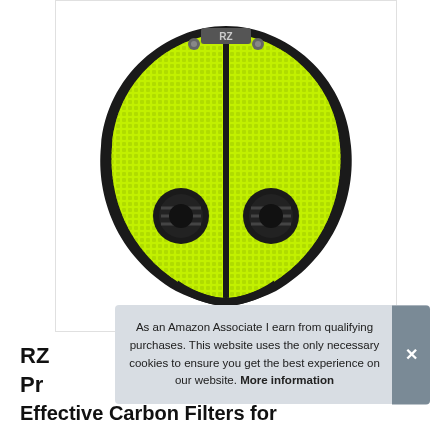[Figure (photo): RZ mask — neon yellow/green mesh face mask with black trim, dual black circular exhaust valves at the bottom, and a vertical black seam down the center. Logo 'RZ' visible at the top center.]
As an Amazon Associate I earn from qualifying purchases. This website uses the only necessary cookies to ensure you get the best experience on our website. More information
RZ Mask M2 Mesh Face Mask with Effective Carbon Filters for...